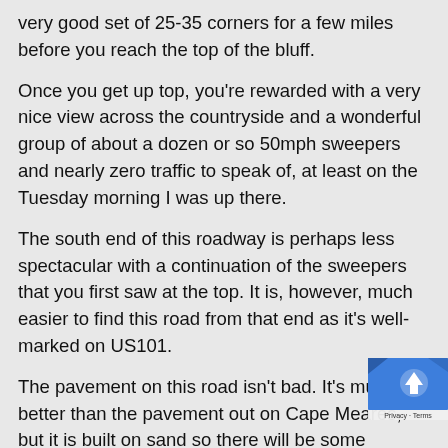very good set of 25-35 corners for a few miles before you reach the top of the bluff.
Once you get up top, you're rewarded with a very nice view across the countryside and a wonderful group of about a dozen or so 50mph sweepers and nearly zero traffic to speak of, at least on the Tuesday morning I was up there.
The south end of this roadway is perhaps less spectacular with a continuation of the sweepers that you first saw at the top. It is, however, much easier to find this road from that end as it's well-marked on US101.
The pavement on this road isn't bad. It's much better than the pavement out on Cape Meares, but it is built on sand so there will be some occasional bumps. The rain from the previous days had cleaned off nicely, so the traction was very nice. Unless you're riding all but the most focused sporting machinery, you should find this road enjoyable.
Just be a little careful for any federal ranges though, as